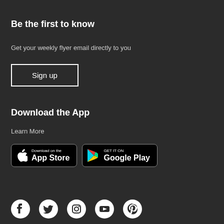Be the first to know
Get your weekly flyer email directly to you
Sign up
Download the App
Learn More
[Figure (logo): Download on the App Store badge]
[Figure (logo): Get it on Google Play badge]
[Figure (infographic): Social media icons: Facebook, Twitter, Instagram, YouTube, Pinterest]